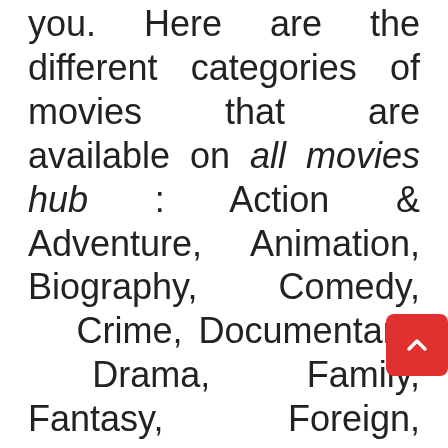you. Here are the different categories of movies that are available on all movies hub : Action & Adventure, Animation, Biography, Comedy, Crime, Documentary, Drama, Family, Fantasy, Foreign, Horror, Music, Romance, Sci-Fi, Thriller, and many more. You can watch whatever category of movie you want, whenever you want.
all movies hub has a large